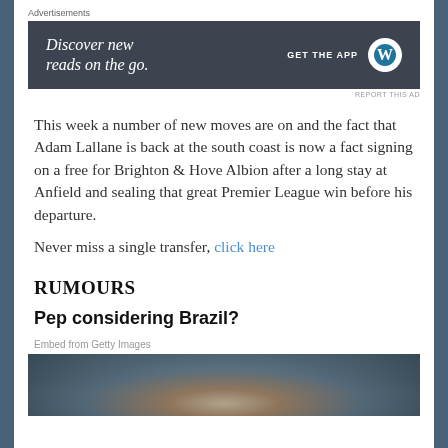Advertisements
[Figure (other): Advertisement banner: dark background with text 'Discover new reads on the go.' and 'GET THE APP' with WordPress logo]
REPORT THIS AD
This week a number of new moves are on and the fact that Adam Lallane is back at the south coast is now a fact signing on a free for Brighton & Hove Albion after a long stay at Anfield and sealing that great Premier League win before his departure.
Never miss a single transfer, click here
RUMOURS
Pep considering Brazil?
Embed from Getty Images
[Figure (photo): Blurred photograph of a person, likely a football manager or player, with yellow-shirted figures in the background]